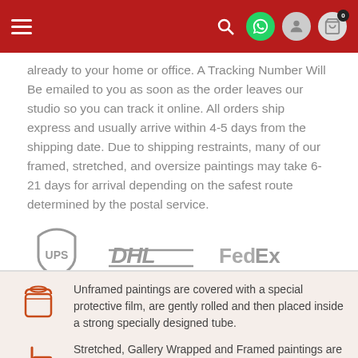Navigation bar with hamburger menu, search, WhatsApp, user, and cart icons
already to your home or office. A Tracking Number Will Be emailed to you as soon as the order leaves our studio so you can track it online. All orders ship express and usually arrive within 4-5 days from the shipping date. Due to shipping restraints, many of our framed, stretched, and oversize paintings may take 6-21 days for arrival depending on the safest route determined by the postal service.
[Figure (logo): UPS, DHL, and FedEx shipping carrier logos displayed in a row]
Unframed paintings are covered with a special protective film, are gently rolled and then placed inside a strong specially designed tube.
Stretched, Gallery Wrapped and Framed paintings are covered with protective bubble